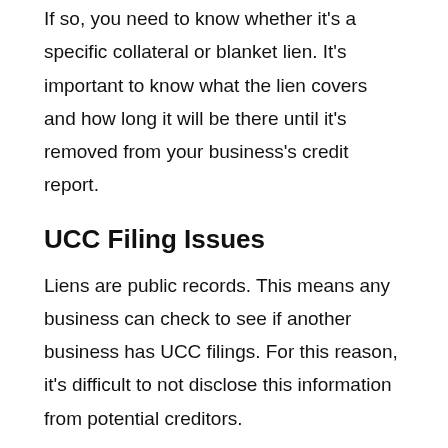If so, you need to know whether it's a specific collateral or blanket lien. It's important to know what the lien covers and how long it will be there until it's removed from your business's credit report.
UCC Filing Issues
Liens are public records. This means any business can check to see if another business has UCC filings. For this reason, it's difficult to not disclose this information from potential creditors.
Any liens on your business will show up in background and credit checks on your business. A